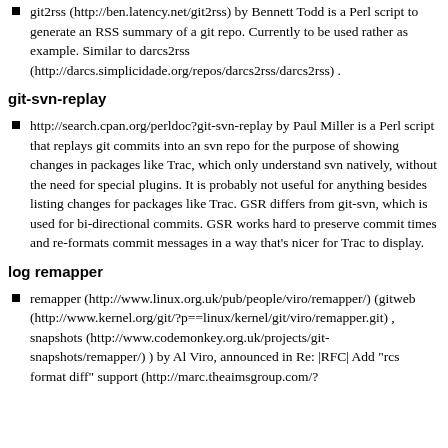git2rss (http://ben.latency.net/git2rss) by Bennett Todd is a Perl script to generate an RSS summary of a git repo. Currently to be used rather as example. Similar to darcs2rss (http://darcs.simplicidade.org/repos/darcs2rss/darcs2rss) .
git-svn-replay
http://search.cpan.org/perldoc?git-svn-replay by Paul Miller is a Perl script that replays git commits into an svn repo for the purpose of showing changes in packages like Trac, which only understand svn natively, without the need for special plugins. It is probably not useful for anything besides listing changes for packages like Trac. GSR differs from git-svn, which is used for bi-directional commits. GSR works hard to preserve commit times and re-formats commit messages in a way that's nicer for Trac to display.
log remapper
remapper (http://www.linux.org.uk/pub/people/viro/remapper/) (gitweb (http://www.kernel.org/git/?p==linux/kernel/git/viro/remapper.git) , snapshots (http://www.codemonkey.org.uk/projects/git-snapshots/remapper/) ) by Al Viro, announced in Re: |RFC| Add "rcs format diff" support (http://marc.theaimsgroup.com/?...